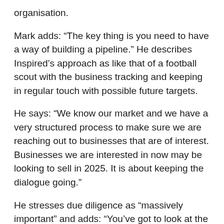organisation.
Mark adds: “The key thing is you need to have a way of building a pipeline.” He describes Inspired’s approach as like that of a football scout with the business tracking and keeping in regular touch with possible future targets.
He says: “We know our market and we have a very structured process to make sure we are reaching out to businesses that are of interest. Businesses we are interested in now may be looking to sell in 2025. It is about keeping the dialogue going.”
He stresses due diligence as “massively important” and adds: “You’ve got to look at the culture of the business, we look at things like staff turnover rates, what